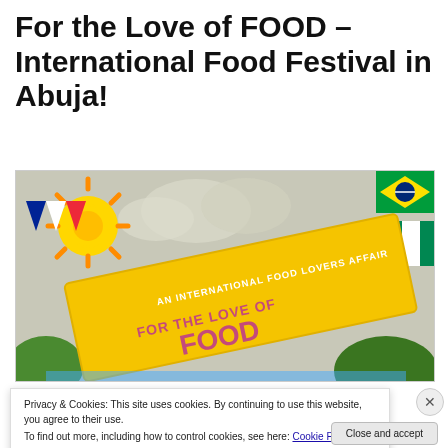For the Love of FOOD – International Food Festival in Abuja!
[Figure (illustration): Colorful festival banner illustration showing a yellow ribbon banner reading 'AN INTERNATIONAL FOOD LOVERS AFFAIR FOR THE LOVE OF FOOD' with a sun, clouds, and international flags including Brazil and Nigeria. Green trees and festive bunting are visible in the background.]
Privacy & Cookies: This site uses cookies. By continuing to use this website, you agree to their use.
To find out more, including how to control cookies, see here: Cookie Policy
Close and accept